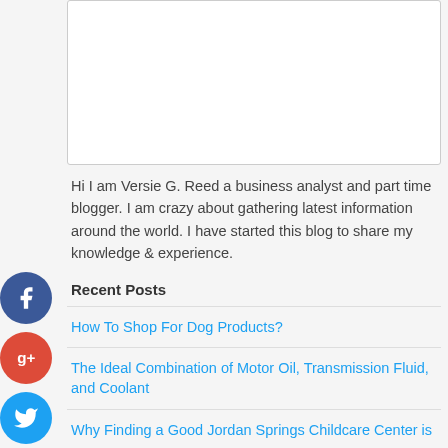[Figure (other): White rectangle/box area at top of page, likely an image placeholder]
Hi I am Versie G. Reed a business analyst and part time blogger. I am crazy about gathering latest information around the world. I have started this blog to share my knowledge & experience.
[Figure (other): Social media sharing icons: Facebook (blue circle with f), Google+ (red circle with g+), Twitter (blue circle with bird), Add/Plus (dark circle with +)]
Recent Posts
How To Shop For Dog Products?
The Ideal Combination of Motor Oil, Transmission Fluid, and Coolant
Why Finding a Good Jordan Springs Childcare Center is